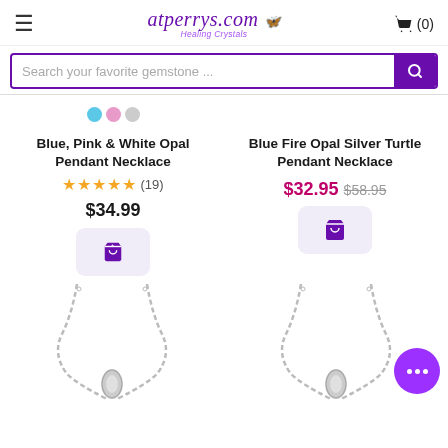atperrys.com Healing Crystals
Search your favorite gemstone ...
Blue, Pink & White Opal Pendant Necklace
★★★★★ (19)
$34.99
Blue Fire Opal Silver Turtle Pendant Necklace
$32.95 $58.95
[Figure (photo): Partial view of necklace pendant - left product]
[Figure (photo): Partial view of necklace pendant - right product]